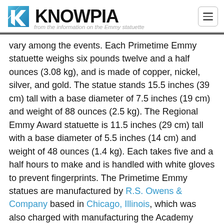KNOWPIA
vary among the events. Each Primetime Emmy statuette weighs six pounds twelve and a half ounces (3.08 kg), and is made of copper, nickel, silver, and gold. The statue stands 15.5 inches (39 cm) tall with a base diameter of 7.5 inches (19 cm) and weight of 88 ounces (2.5 kg). The Regional Emmy Award statuette is 11.5 inches (29 cm) tall with a base diameter of 5.5 inches (14 cm) and weight of 48 ounces (1.4 kg). Each takes five and a half hours to make and is handled with white gloves to prevent fingerprints. The Primetime Emmy statues are manufactured by R.S. Owens & Company based in Chicago, Illinois, which was also charged with manufacturing the Academy Award statues until 2016, when AMPAS switched to Polich Tallix in Walden, New York.[3][15][16] The Regional